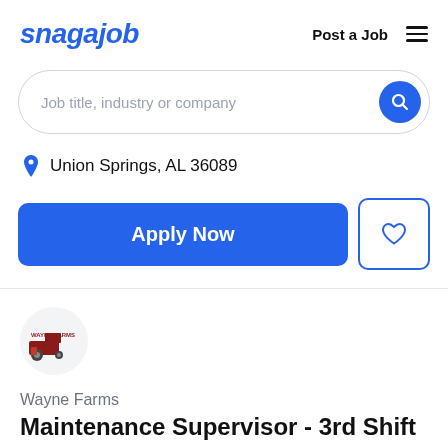snagajob | Post a Job
Job title, industry or company
Union Springs, AL 36089
Apply Now
[Figure (logo): Wayne Farms company logo inside a circular frame]
Wayne Farms
Maintenance Supervisor - 3rd Shift